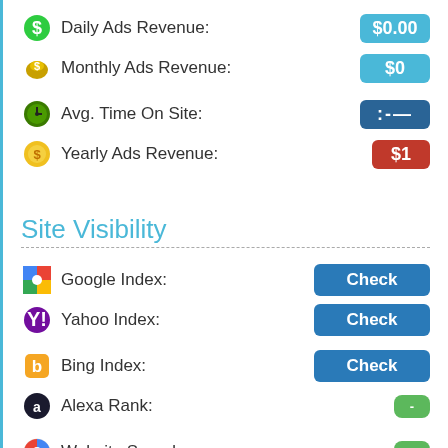Daily Ads Revenue: $0.00
Monthly Ads Revenue: $0
Avg. Time On Site: --
Yearly Ads Revenue: $1
Site Visibility
Google Index: Check
Yahoo Index: Check
Bing Index: Check
Alexa Rank: -
Website Speed: -
Google PR(depr.): -